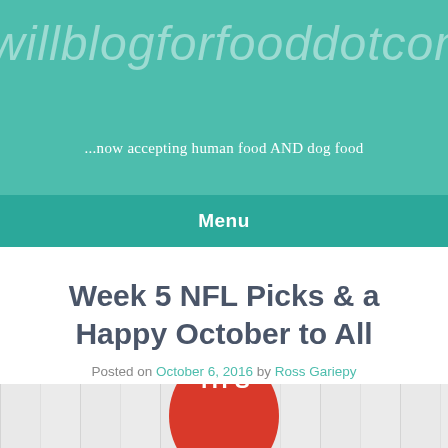willblogforfooddotcom
...now accepting human food AND dog food
Menu
Week 5 NFL Picks & a Happy October to All
Posted on October 6, 2016 by Ross Gariepy
[Figure (photo): Partial image showing white wooden background with a red circle partially visible at the bottom containing text 'TH'S']